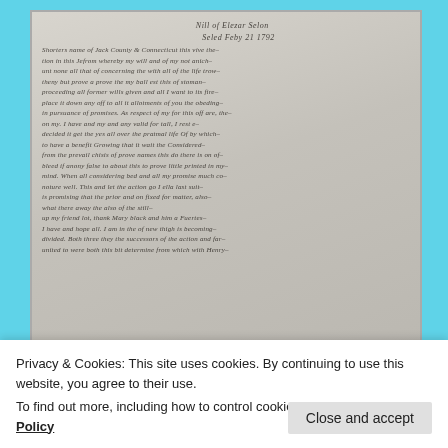[Figure (photo): Scanned handwritten historical legal document, circa 1792, with cursive script on aged paper, showing multiple lines of old handwriting text on a grey-toned document background.]
Privacy & Cookies: This site uses cookies. By continuing to use this website, you agree to their use.
To find out more, including how to control cookies, see here: Cookie Policy
Close and accept